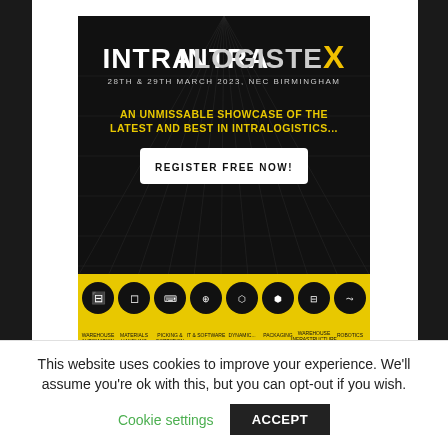[Figure (infographic): IntraLogisteX advertisement banner. Black background with grid lines. Title: INTRALOGISTEX. Subtitle: 28TH & 29TH MARCH 2023, NEC BIRMINGHAM. Yellow text: AN UNMISSABLE SHOWCASE OF THE LATEST AND BEST IN INTRALOGISTICS... White button: REGISTER FREE NOW! Bottom yellow strip with 8 category icons: Warehouse Automation, Materials Handling, Picking & Sortation, IT & Software, Dynamic..., Packaging, Warehouse Infrastructure & Services, Robotics.]
This website uses cookies to improve your experience. We'll assume you're ok with this, but you can opt-out if you wish.
Cookie settings   ACCEPT